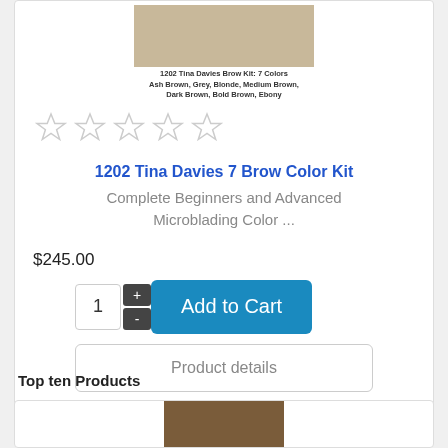[Figure (photo): Product photo of 1202 Tina Davies Brow Kit with 7 color bottles arranged together]
1202 Tina Davies Brow Kit: 7 Colors
Ash Brown, Grey, Blonde, Medium Brown,
Dark Brown, Bold Brown, Ebony
[Figure (other): Five empty star rating icons]
1202 Tina Davies 7 Brow Color Kit
Complete Beginners and Advanced Microblading Color ...
$245.00
1  +  Add to Cart  -
Product details
Top ten Products
[Figure (photo): Bottom product card showing a product image]